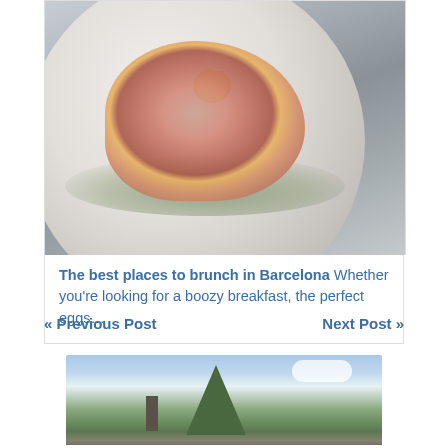[Figure (photo): A close-up food photo on a white plate showing smoked salmon with a poached egg and green herb sauce, on a white background]
The best places to brunch in Barcelona Whether you're looking for a boozy breakfast, the perfect eggs…
« Previous Post
Next Post »
[Figure (photo): An outdoor photo showing a large tree against a partly cloudy blue sky, with a chimney or industrial structure visible to the left]